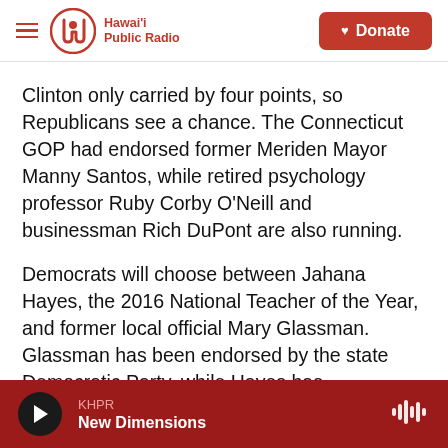Hawai'i Public Radio — Donate
Clinton only carried by four points, so Republicans see a chance. The Connecticut GOP had endorsed former Meriden Mayor Manny Santos, while retired psychology professor Ruby Corby O'Neill and businessman Rich DuPont are also running.
Democrats will choose between Jahana Hayes, the 2016 National Teacher of the Year, and former local official Mary Glassman. Glassman has been endorsed by the state Democratic Party, while Hayes has progressive backing and supports a single-payer health care system. Hayes also has the backing of Sen. Chris Murphy, who recruited her
KHPR — New Dimensions